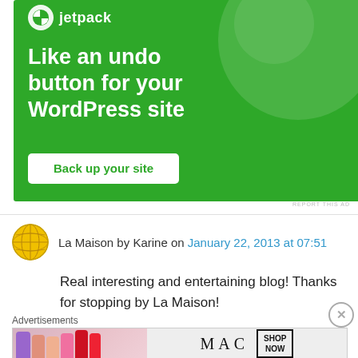[Figure (screenshot): Jetpack advertisement banner with green background. Shows Jetpack logo at top, headline text 'Like an undo button for your WordPress site', and a white 'Back up your site' button.]
REPORT THIS AD
La Maison by Karine on January 22, 2013 at 07:51
Real interesting and entertaining blog! Thanks for stopping by La Maison!
Advertisements
[Figure (screenshot): MAC Cosmetics advertisement showing colorful lipsticks on left side with MAC logo text and 'SHOP NOW' button on the right.]